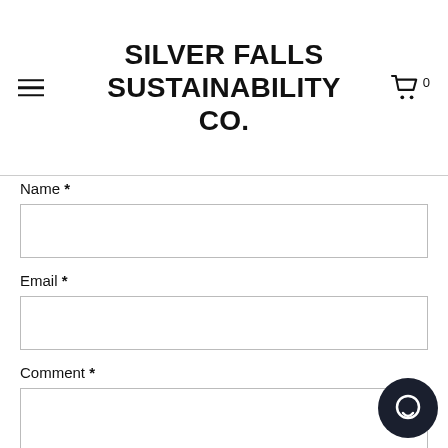SILVER FALLS SUSTAINABILITY CO.
Name *
Email *
Comment *